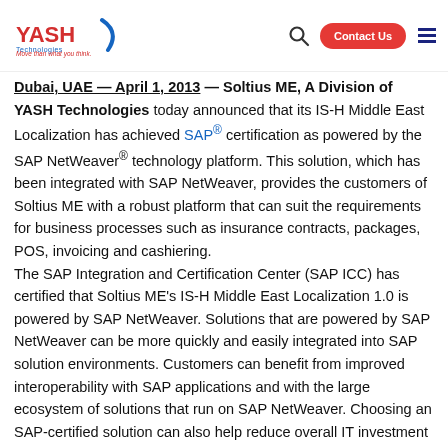YASH Technologies — Contact Us header navigation
Dubai, UAE — April 1, 2013 — Soltius ME, A Division of YASH Technologies today announced that its IS-H Middle East Localization has achieved SAP® certification as powered by the SAP NetWeaver® technology platform. This solution, which has been integrated with SAP NetWeaver, provides the customers of Soltius ME with a robust platform that can suit the requirements for business processes such as insurance contracts, packages, POS, invoicing and cashiering.
The SAP Integration and Certification Center (SAP ICC) has certified that Soltius ME's IS-H Middle East Localization 1.0 is powered by SAP NetWeaver. Solutions that are powered by SAP NetWeaver can be more quickly and easily integrated into SAP solution environments. Customers can benefit from improved interoperability with SAP applications and with the large ecosystem of solutions that run on SAP NetWeaver. Choosing an SAP-certified solution can also help reduce overall IT investment costs and risks.